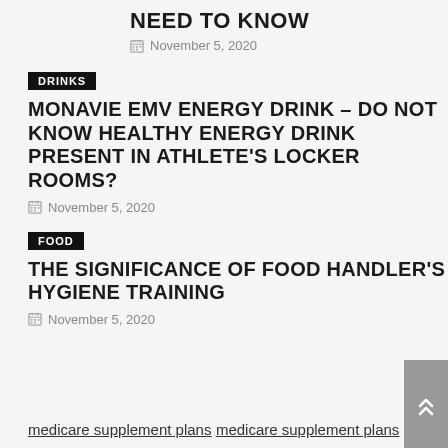NEED TO KNOW
November 5, 2020
DRINKS
MONAVIE EMV ENERGY DRINK – DO NOT KNOW HEALTHY ENERGY DRINK PRESENT IN ATHLETE'S LOCKER ROOMS?
November 5, 2020
FOOD
THE SIGNIFICANCE OF FOOD HANDLER'S HYGIENE TRAINING
November 5, 2020
medicare supplement plans
medicare supplement plans